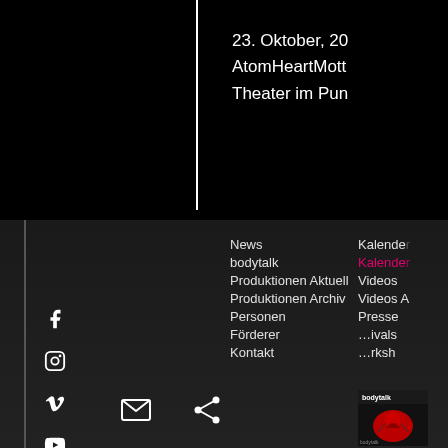23. Oktober, 20
AtomHeartMott
Theater im Pun
[Figure (screenshot): Website footer/navigation screenshot showing social media icons (Facebook, Instagram, Vimeo, YouTube, email, share), navigation menu items in German (News, bodytalk, Produktionen Aktuell, Produktionen Archiv, Personen, Förderer, Kontakt) and second column (Kalende..., Kalende... in pink, Videos, Videos A..., Presse, ...ivals, ...rksh...), and a bodytalk logo thumbnail]
News
bodytalk
Produktionen Aktuell
Produktionen Archiv
Personen
Förderer
Kontakt